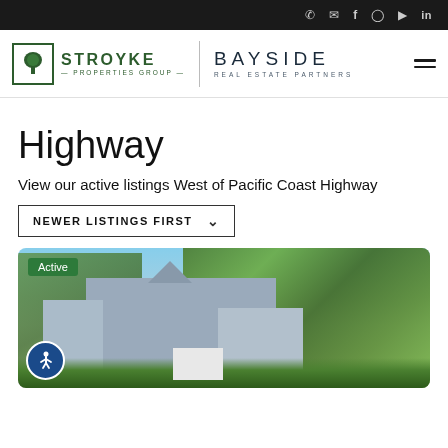Navigation bar with phone, email, Facebook, Instagram, YouTube, LinkedIn icons
[Figure (logo): Stroyke Properties Group and Bayside Real Estate Partners logos with hamburger menu]
Highway
View our active listings West of Pacific Coast Highway
NEWER LISTINGS FIRST
[Figure (photo): Exterior photo of a multi-story residential building with trees and blue sky. Active badge shown in top left corner and accessibility button in bottom left.]